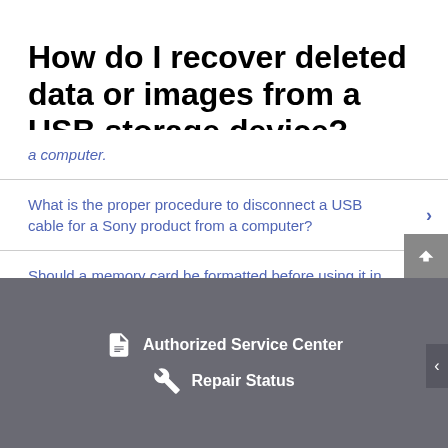How do I recover deleted data or images from a USB storage device?
a computer.
What is the proper procedure to disconnect a USB cable for a Sony product from a computer?
Should a memory card be formatted before using it in the camera?
Can memory cards with images recorded from another camera be used with this camera?
Authorized Service Center
Repair Status